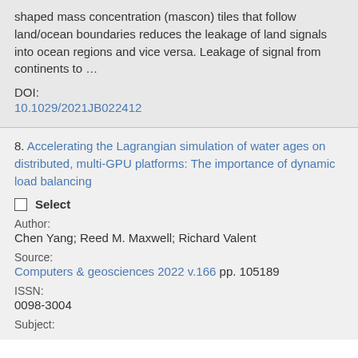shaped mass concentration (mascon) tiles that follow land/ocean boundaries reduces the leakage of land signals into ocean regions and vice versa. Leakage of signal from continents to …
DOI:
10.1029/2021JB022412
8. Accelerating the Lagrangian simulation of water ages on distributed, multi-GPU platforms: The importance of dynamic load balancing
Select
Author:
Chen Yang; Reed M. Maxwell; Richard Valent
Source:
Computers & geosciences 2022 v.166 pp. 105189
ISSN:
0098-3004
Subject: